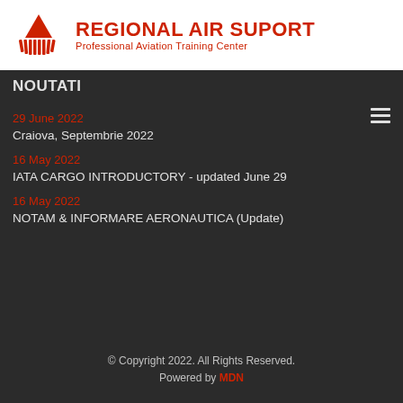[Figure (logo): Regional Air Suport logo with red stylized wing/building icon and red text 'REGIONAL AIR SUPORT' and subtitle 'Professional Aviation Training Center' on white background]
NOUTATI
29 June 2022
Craiova, Septembrie 2022
16 May 2022
IATA CARGO INTRODUCTORY - updated June 29
16 May 2022
NOTAM & INFORMARE AERONAUTICA (Update)
© Copyright 2022. All Rights Reserved.
Powered by MDN